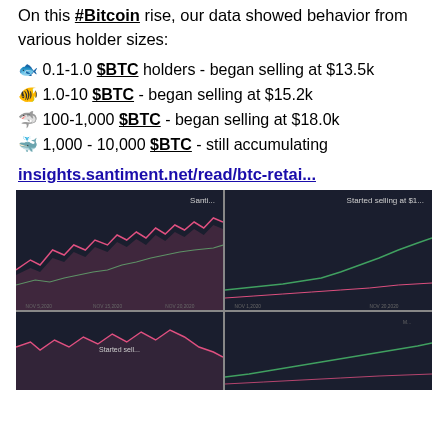On this #Bitcoin rise, our data showed behavior from various holder sizes:
🐟 0.1-1.0 $BTC holders - began selling at $13.5k
🐠 1.0-10 $BTC - began selling at $15.2k
🦈 100-1,000 $BTC - began selling at $18.0k
🐳 1,000 - 10,000 $BTC - still accumulating
insights.santiment.net/read/btc-retai...
[Figure (screenshot): Four-panel dark-themed cryptocurrency chart screenshots showing BTC holder behavior lines, with annotations 'Started selling at $1...' visible]